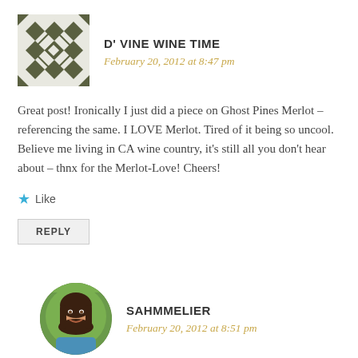[Figure (illustration): Geometric quilt-pattern avatar icon in dark olive/grey tones, square shape with diamond and cross patterns]
D' VINE WINE TIME
February 20, 2012 at 8:47 pm
Great post! Ironically I just did a piece on Ghost Pines Merlot – referencing the same. I LOVE Merlot. Tired of it being so uncool. Believe me living in CA wine country, it's still all you don't hear about – thnx for the Merlot-Love! Cheers!
Like
REPLY
[Figure (photo): Circular profile photo of a woman with long dark brown hair, smiling, against a green outdoor background]
SAHMMELIER
February 20, 2012 at 8:51 pm
Thank you! I am perusing your blog right now. Happy to